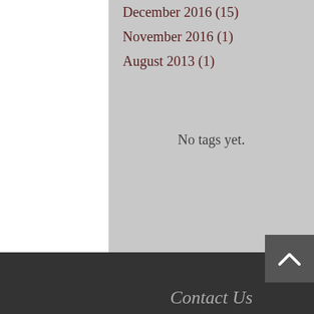December 2016 (15)
November 2016 (1)
August 2013 (1)
No tags yet.
Contact Us